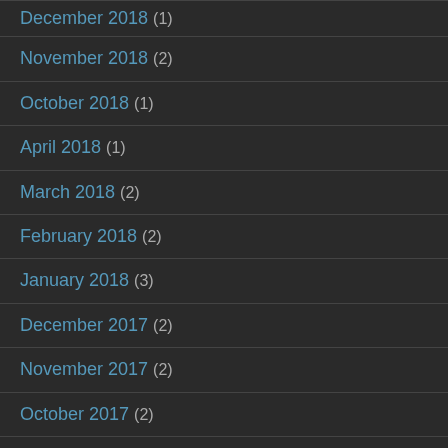December 2018 (1)
November 2018 (2)
October 2018 (1)
April 2018 (1)
March 2018 (2)
February 2018 (2)
January 2018 (3)
December 2017 (2)
November 2017 (2)
October 2017 (2)